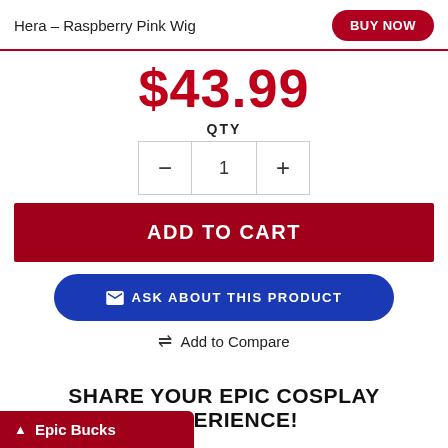Hera - Raspberry Pink Wig
$43.99
QTY
- 1 +
ADD TO CART
ASK ABOUT THIS PRODUCT
Add to Compare
SHARE YOUR EPIC COSPLAY EXPERIENCE!
our photo her and tell the story of your cosplay? r story using the button below and we'll have it
Epic Bucks